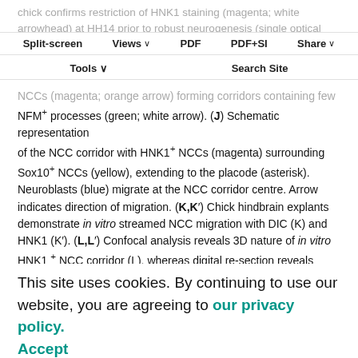chick confirms restriction of HNK1 staining (magenta; white arrowhead) at HH14 prior to robust neurogenesis (single optical confocal section). (II Analysis in mou... also shows YFP+
Split-screen | Views ∨ | PDF | PDF+SI | Share ∨
Tools ∨ | Search Site
NCCs (magenta; orange arrow) forming corridors containing few NFM+ processes (green; white arrow). (J) Schematic representation of the NCC corridor with HNK1+ NCCs (magenta) surrounding Sox10+ NCCs (yellow), extending to the placode (asterisk). Neuroblasts (blue) migrate at the NCC corridor centre. Arrow indicates direction of migration. (K,K') Chick hindbrain explants demonstrate in vitro streamed NCC migration with DIC (K) and HNK1 (K'). (L,L') Confocal analysis reveals 3D nature of in vitro HNK1 + NCC corridor (L), whereas digital re-section reveals peripheral HNK1 staining (L'). Asterisks indicate placode; NT, neural tube; OV, otic vesicle; PAI, PAII, pharyngeal arches I and II. Scale bar:
This site uses cookies. By continuing to use our website, you are agreeing to our privacy policy. Accept
...pared this with HNK1+ NCC corridor development, combining Sox10 staining with HNK1 and ISL1 antibody